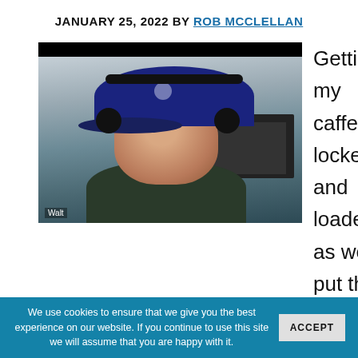JANUARY 25, 2022 BY ROB MCCLELLAN
[Figure (photo): Screenshot of a video call showing a man wearing a dark baseball cap and headphones, labeled 'Walt' in the lower left corner.]
Getting my caffeine locked and loaded as we put the breaks on and talk about recharging the
We use cookies to ensure that we give you the best experience on our website. If you continue to use this site we will assume that you are happy with it.  ACCEPT